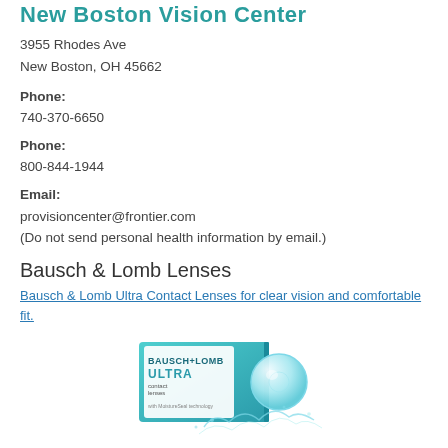New Boston Vision Center
3955 Rhodes Ave
New Boston, OH 45662
Phone:
740-370-6650
Phone:
800-844-1944
Email:
provisioncenter@frontier.com
(Do not send personal health information by email.)
Bausch & Lomb Lenses
Bausch & Lomb Ultra Contact Lenses for clear vision and comfortable fit.
[Figure (photo): Bausch + Lomb ULTRA contact lenses box with a contact lens and water splash graphic on teal/white packaging]